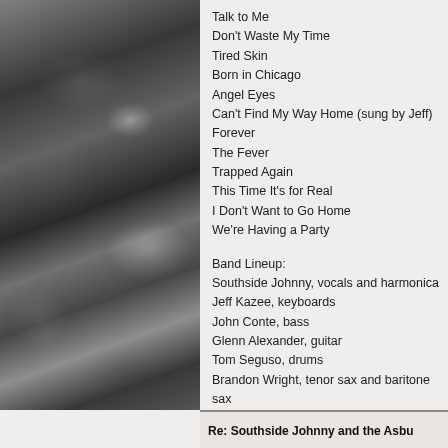[Figure (photo): Black and white photo of a crowd at a concert, people with arms raised]
Talk to Me
Don't Waste My Time
Tired Skin
Born in Chicago
Angel Eyes
Can't Find My Way Home (sung by Jeff)
Forever
The Fever
Trapped Again
This Time It's for Real
I Don't Want to Go Home
We're Having a Party
Band Lineup:
Southside Johnny, vocals and harmonica
Jeff Kazee, keyboards
John Conte, bass
Glenn Alexander, guitar
Tom Seguso, drums
Brandon Wright, tenor sax and baritone sax
Chris Anderson, trumpet
Neal Pawley, trombone
Re: Southside Johnny and the Asbu